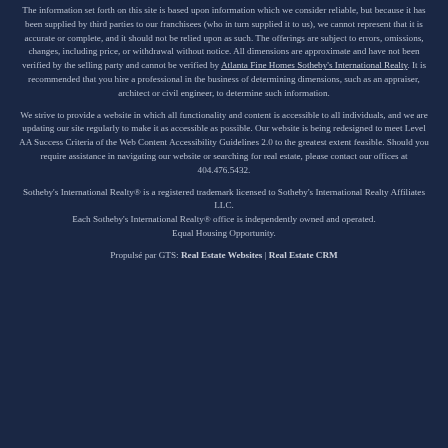The information set forth on this site is based upon information which we consider reliable, but because it has been supplied by third parties to our franchisees (who in turn supplied it to us), we cannot represent that it is accurate or complete, and it should not be relied upon as such. The offerings are subject to errors, omissions, changes, including price, or withdrawal without notice. All dimensions are approximate and have not been verified by the selling party and cannot be verified by Atlanta Fine Homes Sotheby's International Realty. It is recommended that you hire a professional in the business of determining dimensions, such as an appraiser, architect or civil engineer, to determine such information.
We strive to provide a website in which all functionality and content is accessible to all individuals, and we are updating our site regularly to make it as accessible as possible. Our website is being redesigned to meet Level AA Success Criteria of the Web Content Accessibility Guidelines 2.0 to the greatest extent feasible. Should you require assistance in navigating our website or searching for real estate, please contact our offices at 404.476.5432.
Sotheby's International Realty® is a registered trademark licensed to Sotheby's International Realty Affiliates LLC. Each Sotheby's International Realty® office is independently owned and operated. Equal Housing Opportunity.
Propulsé par GTS: Real Estate Websites | Real Estate CRM